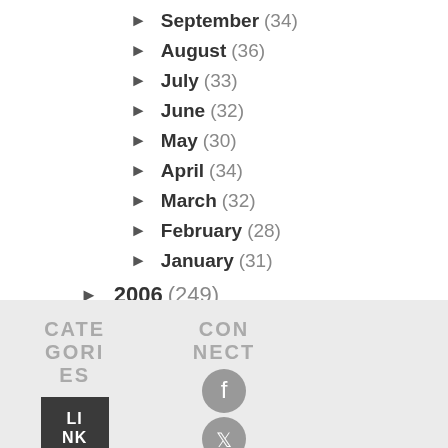► September (34)
► August (36)
► July (33)
► June (32)
► May (30)
► April (34)
► March (32)
► February (28)
► January (31)
► 2006 (249)
CATEGORIES
LINK
CONNECT